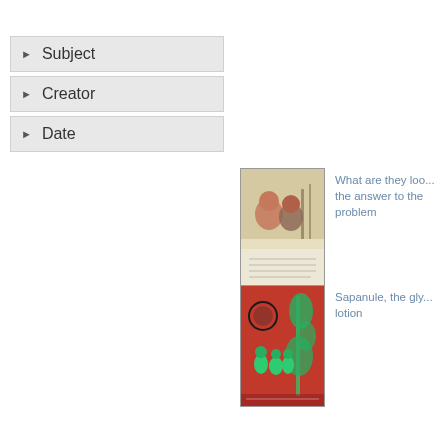Subject
Creator
Date
[Figure (photo): Victorian-era greeting card showing two children in winter scene with text at bottom]
What are they loo... the answer to the problem
[Figure (photo): Advertising trade card with red background showing green figures and a circular logo, for Sapanule]
Sapanule, the gly... lotion